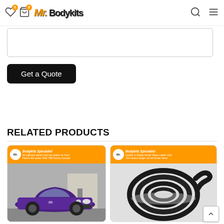Mr. Bodykits — navigation header with wishlist (0), cart (0), search, and menu icons
[Figure (screenshot): Empty text input box for quote]
Get a Quote
RELATED PRODUCTS
[Figure (photo): Bodykits Specialist product card: Mr injection plastic front lip splitter for Ford Falcon BA series XR6/XR8 factory bumper — showing purple Ford Falcon with body kit installed]
[Figure (photo): Bodykits Specialist product card: Quality U-Shape fender flares rubber strip x10 meters length suit all fender flares — showing coiled black rubber strip]